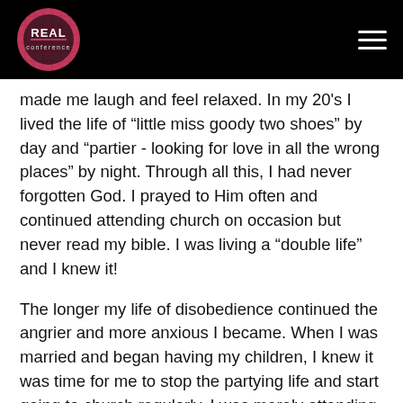[Figure (logo): REAL Conference logo — circular emblem with hexagonal pattern, dark red/pink colors, with text 'REAL conference']
made me laugh and feel relaxed. In my 20's I lived the life of “little miss goody two shoes” by day and “partier - looking for love in all the wrong places” by night. Through all this, I had never forgotten God. I prayed to Him often and continued attending church on occasion but never read my bible. I was living a “double life” and I knew it!
The longer my life of disobedience continued the angrier and more anxious I became. When I was married and began having my children, I knew it was time for me to stop the partying life and start going to church regularly. I was merely attending church as I always had. Finally I